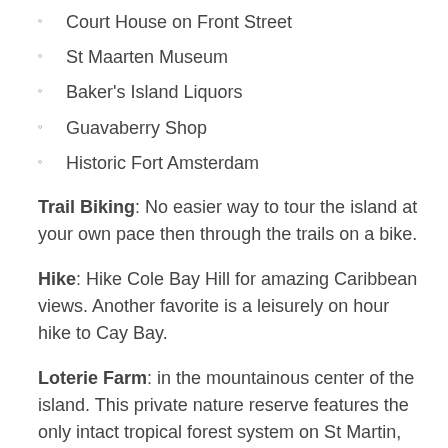Court House on Front Street
St Maarten Museum
Baker's Island Liquors
Guavaberry Shop
Historic Fort Amsterdam
Trail Biking: No easier way to tour the island at your own pace then through the trails on a bike.
Hike: Hike Cole Bay Hill for amazing Caribbean views. Another favorite is a leisurely on hour hike to Cay Bay.
Loterie Farm: in the mountainous center of the island. This private nature reserve features the only intact tropical forest system on St Martin, with two hundred